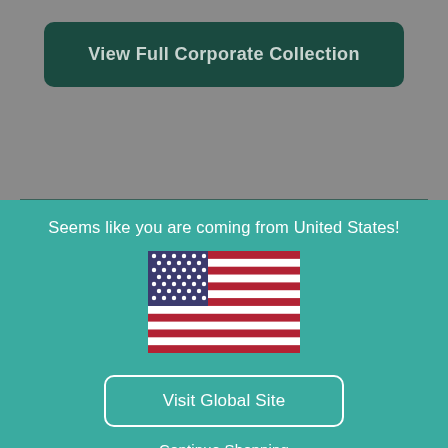View Full Corporate Collection
Seems like you are coming from United States!
[Figure (illustration): US flag illustration]
Visit Global Site
Continue Shopping
Help
Our Company